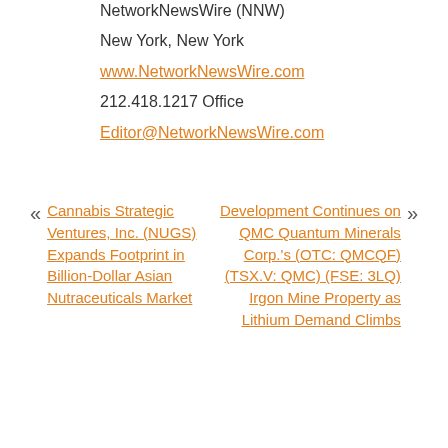NetworkNewsWire (NNW)
New York, New York
www.NetworkNewsWire.com
212.418.1217 Office
Editor@NetworkNewsWire.com
« Cannabis Strategic Ventures, Inc. (NUGS) Expands Footprint in Billion-Dollar Asian Nutraceuticals Market
Development Continues on QMC Quantum Minerals Corp.'s (OTC: QMCQF) (TSX.V: QMC) (FSE: 3LQ) Irgon Mine Property as Lithium Demand Climbs »